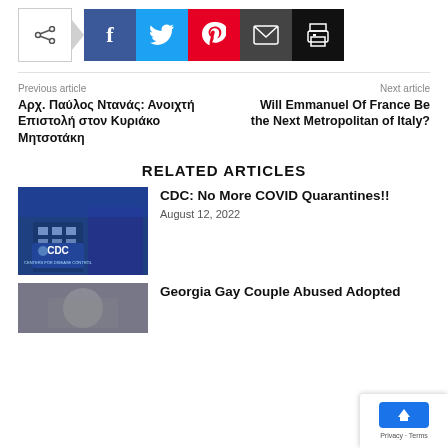[Figure (other): Social share buttons: share (outline), Facebook (blue), Twitter (cyan), Pinterest (red), Email (dark gray), Print (black)]
Previous article
Αρχ. Παύλος Ντανάς: Ανοιχτή Επιστολή στον Κυριάκο Μητσοτάκη
Next article
Will Emmanuel Of France Be the Next Metropolitan of Italy?
RELATED ARTICLES
[Figure (photo): CDC building exterior with blue sign]
CDC: No More COVID Quarantines!!
August 12, 2022
[Figure (photo): Partial thumbnail image for second related article]
Georgia Gay Couple Abused Adopted